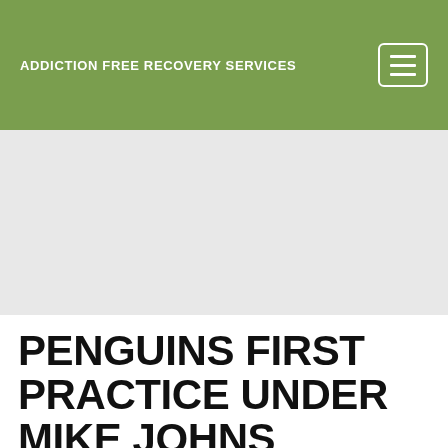ADDICTION FREE RECOVERY SERVICES
[Figure (photo): Large light gray placeholder image area below the green navigation header]
PENGUINS FIRST PRACTICE UNDER MIKE JOHNS
By [author link] February 23, 2023